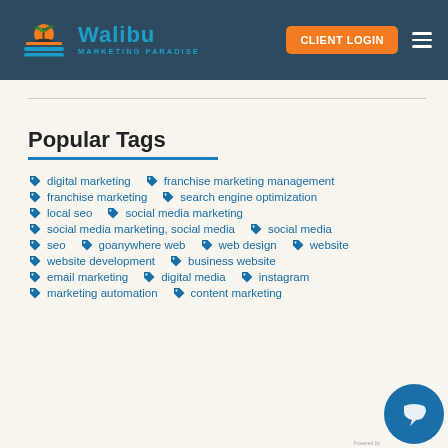[Figure (logo): Walibu Marketing Paradise logo with palm tree sunset circle and blue text]
Popular Tags
digital marketing
franchise marketing management
franchise marketing
search engine optimization
local seo
social media marketing
social media marketing, social media
social media
seo
goanywhere web
web design
website
website development
business website
email marketing
digital media
instagram
marketing automation
content marketing